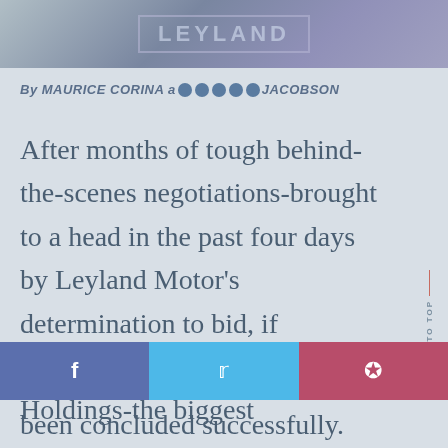[Figure (photo): Top portion of a Leyland logo image with muted blue-grey background]
By MAURICE CORINA and [redacted/obscured] JACOBSON
After months of tough behind-the-scenes negotiations-brought to a head in the past four days by Leyland Motor's determination to bid, if necessary, for British Motor Holdings-the biggest
been concluded successfully.